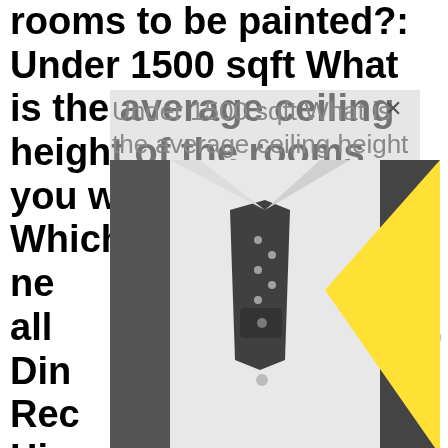rooms to be painted?: Under 1500 sqft What is the average ceiling height of the rooms you want painted?: 8 ft Which rooms need painting? (check all that apply): Living areas, Dining Room, Bedroom(s), Recreation Room, Hallway Desired Completion Date: Within 1 week What kind of location is this?:
[Figure (photo): Black and white photo of a man in a white dress shirt with a black polka-dot tie and matching pocket square, overlaid with a yellow triangle shape and a light gray semi-transparent overlay box with an X close button.]